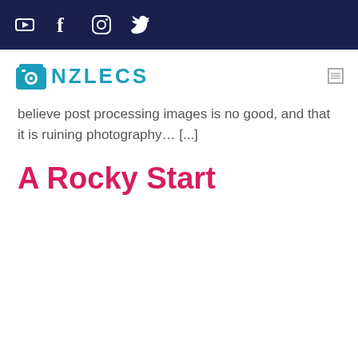[Social media icons: YouTube, Facebook, Instagram, Twitter]
[Figure (logo): ANZLECS logo with camera icon and stylized text]
believe post processing images is no good, and that it is ruining photography… [...]
A Rocky Start